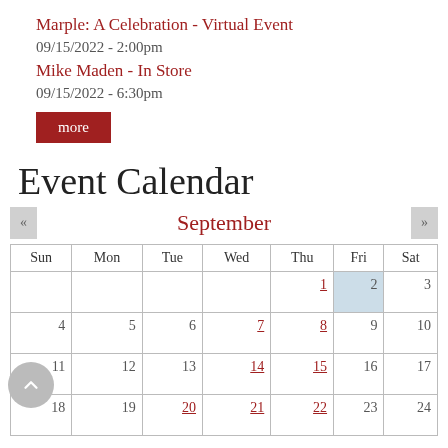Marple: A Celebration - Virtual Event
09/15/2022 - 2:00pm
Mike Maden - In Store
09/15/2022 - 6:30pm
more
Event Calendar
September
| Sun | Mon | Tue | Wed | Thu | Fri | Sat |
| --- | --- | --- | --- | --- | --- | --- |
|  |  |  |  | 1 | 2 | 3 |
| 4 | 5 | 6 | 7 | 8 | 9 | 10 |
| 11 | 12 | 13 | 14 | 15 | 16 | 17 |
| 18 | 19 | 20 | 21 | 22 | 23 | 24 |